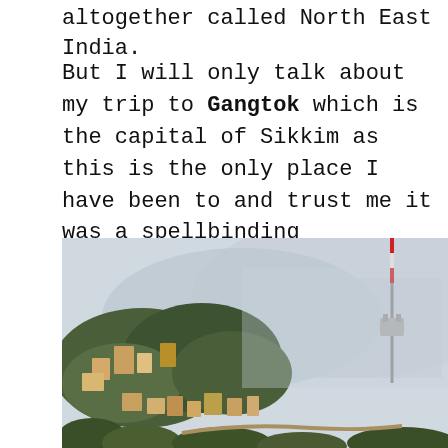altogether called North East India.
But I will only talk about my trip to Gangtok which is the capital of Sikkim as this is the only place I have been to and trust me it was a spellbinding experience.
[Figure (photo): Aerial/elevated view of Gangtok city, Sikkim, showing hillside buildings, dense tree cover, misty mountains in background, and a tall communications tower on the right side.]